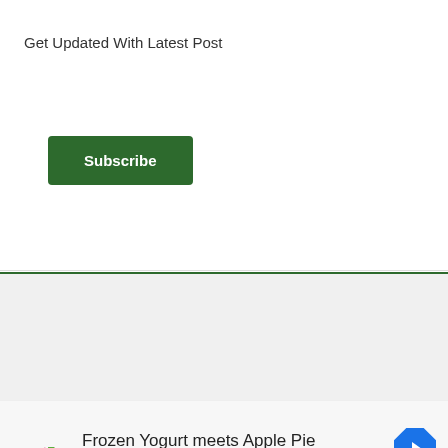×
Get Updated With Latest Post
[Figure (screenshot): Green Subscribe button]
[Figure (screenshot): Grey content area with dropdown chevron box]
[Figure (screenshot): Advertisement banner: sweetFrog - Frozen Yogurt meets Apple Pie with navigation icon]